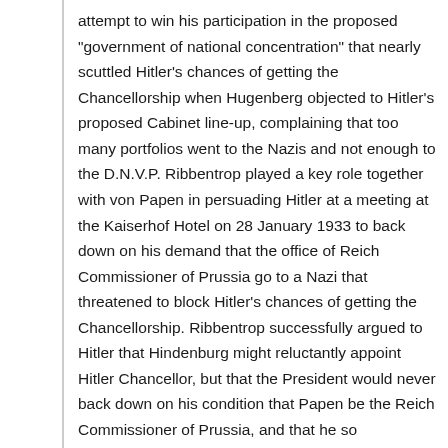attempt to win his participation in the proposed "government of national concentration" that nearly scuttled Hitler's chances of getting the Chancellorship when Hugenberg objected to Hitler's proposed Cabinet line-up, complaining that too many portfolios went to the Nazis and not enough to the D.N.V.P. Ribbentrop played a key role together with von Papen in persuading Hitler at a meeting at the Kaiserhof Hotel on 28 January 1933 to back down on his demand that the office of Reich Commissioner of Prussia go to a Nazi that threatened to block Hitler's chances of getting the Chancellorship. Ribbentrop successfully argued to Hitler that Hindenburg might reluctantly appoint Hitler Chancellor, but that the President would never back down on his condition that Papen be the Reich Commissioner of Prussia, and that he so...